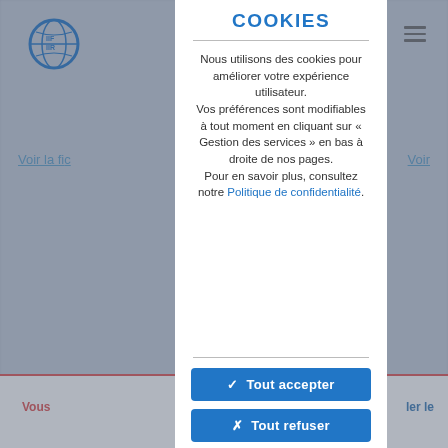[Figure (logo): IIF/IIR globe logo in blue, top-left of background page]
COOKIES
Nous utilisons des cookies pour améliorer votre expérience utilisateur. Vos préférences sont modifiables à tout moment en cliquant sur « Gestion des services » en bas à droite de nos pages. Pour en savoir plus, consultez notre Politique de confidentialité.
✓  Tout accepter
✗  Tout refuser